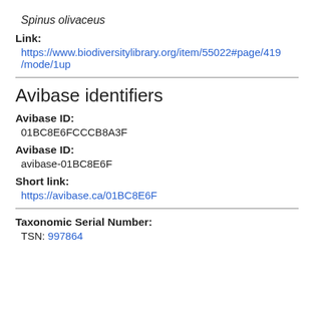Spinus olivaceus
Link:
https://www.biodiversitylibrary.org/item/55022#page/419/mode/1up
Avibase identifiers
Avibase ID:
01BC8E6FCCCB8A3F
Avibase ID:
avibase-01BC8E6F
Short link:
https://avibase.ca/01BC8E6F
Taxonomic Serial Number:
TSN: 997864